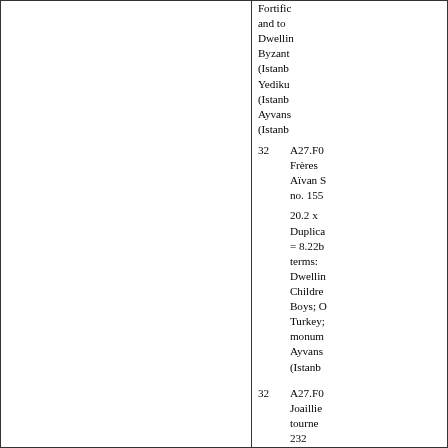Fortifications and towers; Dwellings; Byzantine (Istanbul/Yedikule; Istanbul/Ayvansaray)
32  A27.F0... Frères Aïvan S no. 155  20.2 x  Duplicate = 8.22b terms: Dwellings; Children; Boys; Occupied Turkey; monuments; Ayvansaray (Istanbul)
32  A27.F0... Joailliers tourner 232  21.3 x  Photograph attributed